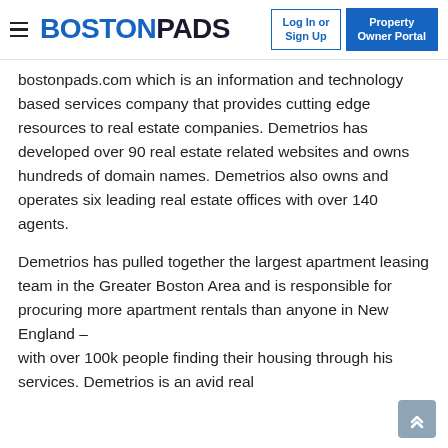BOSTONPADS | Log In or Sign Up | Property Owner Portal
bostonpads.com which is an information and technology based services company that provides cutting edge resources to real estate companies. Demetrios has developed over 90 real estate related websites and owns hundreds of domain names. Demetrios also owns and operates six leading real estate offices with over 140 agents.
Demetrios has pulled together the largest apartment leasing team in the Greater Boston Area and is responsible for procuring more apartment rentals than anyone in New England – with over 100k people finding their housing through his services. Demetrios is an avid real